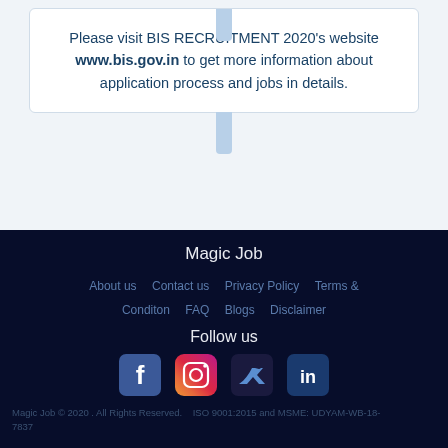Please visit BIS RECRUITMENT 2020's website www.bis.gov.in to get more information about application process and jobs in details.
Magic Job
About us   Contact us   Privacy Policy   Terms & Conditon   FAQ   Blogs   Disclaimer
Follow us
[Figure (other): Social media icons: Facebook, Instagram, Twitter, LinkedIn]
Magic Job © 2020 . All Rights Reserved.   ISO 9001:2015 and MSME: UDYAM-WB-18-7837